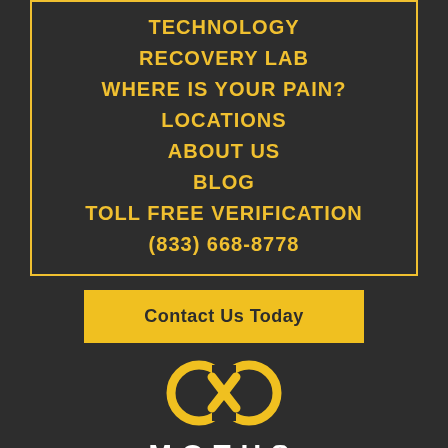TECHNOLOGY
RECOVERY LAB
WHERE IS YOUR PAIN?
LOCATIONS
ABOUT US
BLOG
TOLL FREE VERIFICATION
(833) 668-8778
Contact Us Today
[Figure (logo): Motus infinity loop logo in gold/yellow, with MOTUS text below in white]